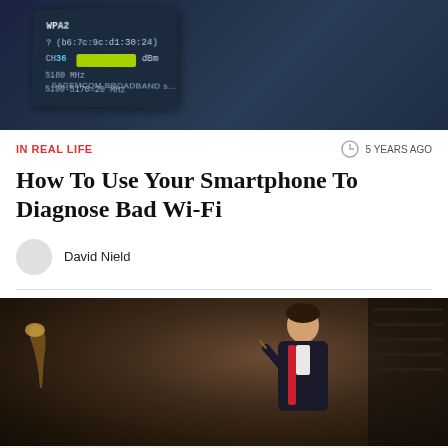[Figure (screenshot): Smartphone screen showing Wi-Fi network details: WPA2, MAC address (b6:7c:9c:d1:30:24), CH 36, 5180 MHz, 5190-5170=20 MHz, signal bar in green showing dBm, SAGEMCOM BROADBAND label visible]
IN REAL LIFE
5 YEARS AGO
How To Use Your Smartphone To Diagnose Bad Wi-Fi
David Nield
[Figure (screenshot): Animated/illustrated character in Hogwarts-style school uniform (red and black robe with crest) holding a wand, standing in a dark library-like room with bookshelves and a lamp]
[Figure (other): Kotaku advertisement banner with pink/red background on left showing Kotaku logo in white italic text, and diagonal pink/white stripes on right with a red 'CLICK HERE' button, framed by a purple border]